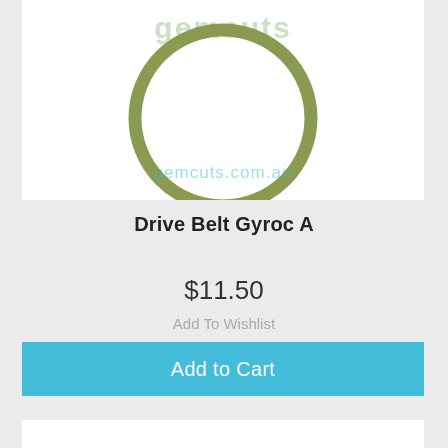[Figure (photo): Product image showing a circular drive belt (ring shape) with olive/khaki green color. Background is white. Watermark text 'gemcuts' at top and 'gemcuts.com.au' at bottom center of the image in light teal color.]
Drive Belt Gyroc A
$11.50
Add To Wishlist
Add to Cart